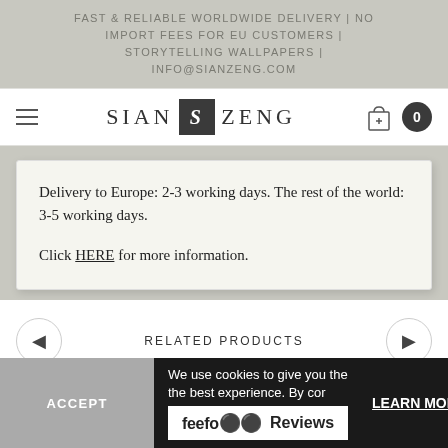FAST & RELIABLE WORLDWIDE DELIVERY | NO IMPORT FEES FOR EU CUSTOMERS | STORYTELLING WALLPAPERS | INFO@SIANZENG.COM
SIAN S ZENG
Delivery to Europe: 2-3 working days. The rest of the world: 3-5 working days.

Click HERE for more information.
RELATED PRODUCTS
We use cookies to give you the the best experience. By con...
feefo Reviews
LEARN MORE
ACCEPT